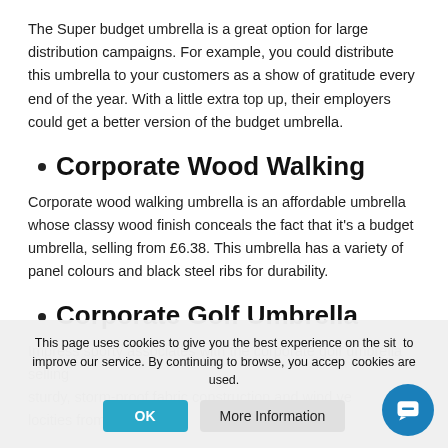The Super budget umbrella is a great option for large distribution campaigns. For example, you could distribute this umbrella to your customers as a show of gratitude every end of the year. With a little extra top up, their employers could get a better version of the budget umbrella.
Corporate Wood Walking
Corporate wood walking umbrella is an affordable umbrella whose classy wood finish conceals the fact that it's a budget umbrella, selling from £6.38. This umbrella has a variety of panel colours and black steel ribs for durability.
Corporate Golf Umbrella
Impress sporty associates with the corporate golf umbrella selling sturdy, storm-proof fabric construction and wind velocities from custom
This page uses cookies to give you the best experience on the site and to improve our service. By continuing to browse, you accept cookies are used.